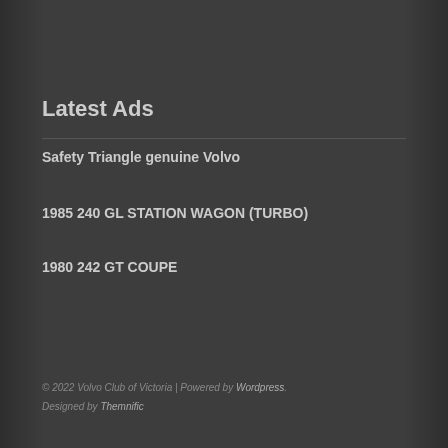Latest Ads
Safety Triangle genuine Volvo
1985 240 GL STATION WAGON (TURBO)
1980 242 GT COUPE
© 2022 Volvo Club of Victoria | Powered by Wordpress.
Designed by Themnific